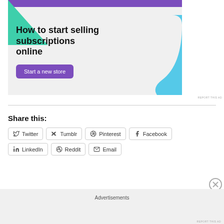[Figure (illustration): Advertisement banner for an e-commerce subscription platform. Light gray background with purple top bar, green triangle shape top left, blue curved shape top right. Bold text reads 'How to start selling subscriptions online' with a purple 'Start a new store' button.]
REPORT THIS AD
Share this:
Twitter
Tumblr
Pinterest
Facebook
LinkedIn
Reddit
Email
Advertisements
REPORT THIS AD